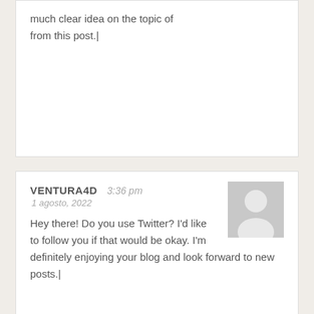much clear idea on the topic of from this post.|
VENTURA4D  3:36 pm
1 agosto, 2022
Hey there! Do you use Twitter? I'd like to follow you if that would be okay. I'm definitely enjoying your blog and look forward to new posts.|
VENTURA4D